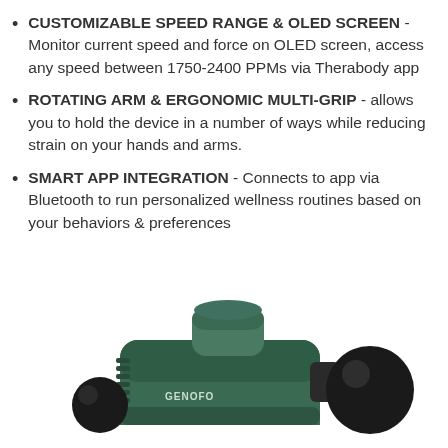CUSTOMIZABLE SPEED RANGE & OLED SCREEN - Monitor current speed and force on OLED screen, access any speed between 1750-2400 PPMs via Therabody app
ROTATING ARM & ERGONOMIC MULTI-GRIP - allows you to hold the device in a number of ways while reducing strain on your hands and arms.
SMART APP INTEGRATION - Connects to app via Bluetooth to run personalized wellness routines based on your behaviors & preferences
[Figure (photo): A green and black massage gun device (GENOFO brand) shown from the side, with a round black attachment head visible.]